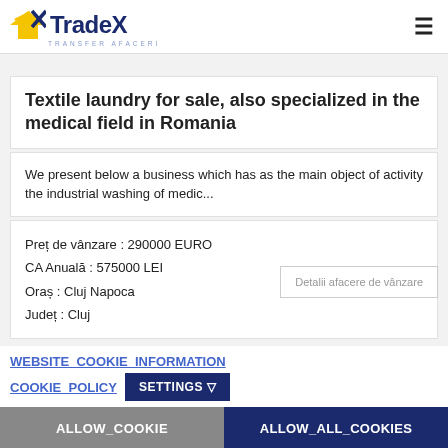TradeX Transfer Afaceri
Textile laundry for sale, also specialized in the medical field in Romania
We present below a business which has as the main object of activity the industrial washing of medic...
Preț de vânzare : 290000 EURO
CA Anuală : 575000 LEI
Oraș : Cluj Napoca
Judeș : Cluj
Detalii afacere de vânzare
WEBSITE_COOKIE_INFORMATION
COOKIE_POLICY
SETTINGS
ALLOW_COOKIE
ALLOW_ALL_COOKIES
Proprietăți or...